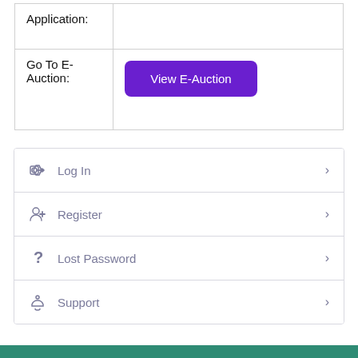|  |  |
| --- | --- |
| Application: |  |
| Go To E-Auction: | View E-Auction |
Log In
Register
Lost Password
Support